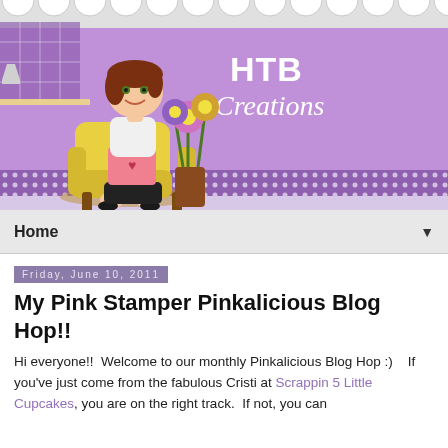[Figure (illustration): HTB Creations blog header banner with cartoon woman sitting in yellow armchair reading, purple background with flower vase, dotted strip, and 'HTB Creations' text in white]
Home ▼
Friday, June 10, 2011
My Pink Stamper Pinkalicious Blog Hop!!
Hi everyone!!  Welcome to our monthly Pinkalicious Blog Hop :)   If you've just come from the fabulous Cristi at Scrappin 5 Little Cupcakes, you are on the right track.  If not, you can